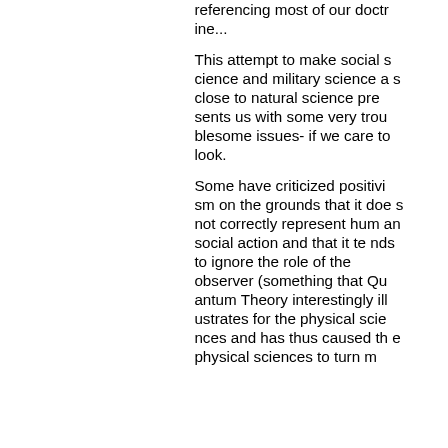referencing most of our doctrine...
This attempt to make social science and military science as close to natural science presents us with some very troublesome issues- if we care to look.
Some have criticized positivism on the grounds that it does not correctly represent human social action and that it tends to ignore the role of the observer (something that Quantum Theory interestingly illustrates for the physical sciences and has thus caused the physical sciences to turn m